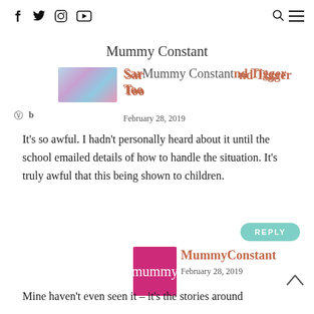Social icons: Facebook, Twitter, Instagram, YouTube | Mummy Constant logo | Search | Menu
Sam and Tigger Too
February 28, 2019
It's so awful. I hadn't personally heard about it until the school emailed details of how to handle the situation. It's truly awful that this being shown to children.
REPLY
[Figure (logo): MummyConstant logo: pink/magenta square with cursive 'mummy' text in white]
MummyConstant
February 28, 2019
Mine haven't even seen it – it's the stories around